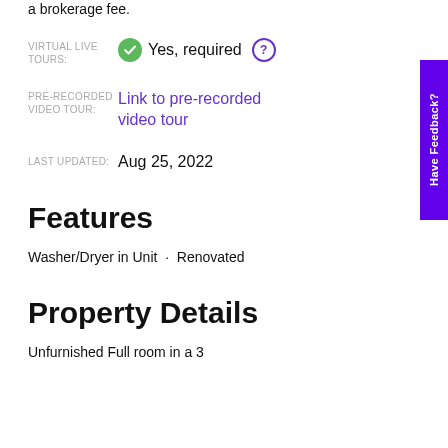a brokerage fee.
VIRTUAL LIVE TOURS:  Yes, required
PRE-RECORDED VIDEO TOUR:  Link to pre-recorded video tour
LAST UPDATED:  Aug 25, 2022
Features
Washer/Dryer in Unit  ·  Renovated
Property Details
Unfurnished Full room in a 3